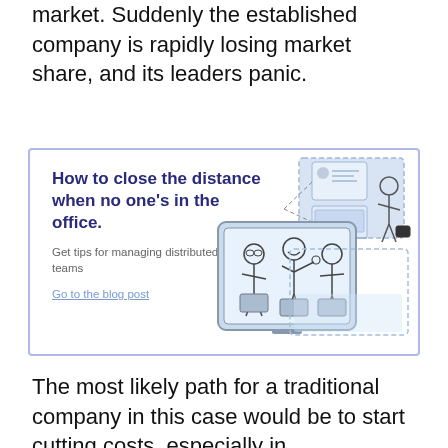market. Suddenly the established company is rapidly losing market share, and its leaders panic.
[Figure (illustration): Callout box with title 'How to close the distance when no one's in the office.' with subtitle 'Get tips for managing distributed teams', a link 'Go to the blog post', and a hand-drawn illustration of people on video call screens.]
The most likely path for a traditional company in this case would be to start cutting costs, especially in development. In